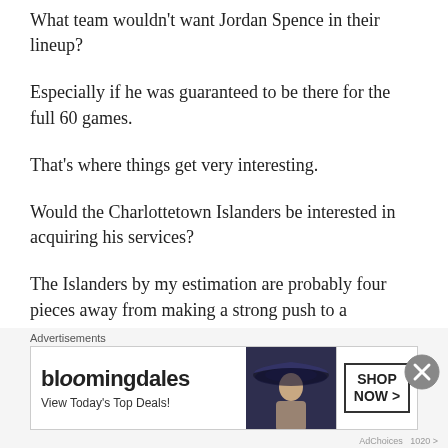What team wouldn't want Jordan Spence in their lineup?
Especially if he was guaranteed to be there for the full 60 games.
That's where things get very interesting.
Would the Charlottetown Islanders be interested in acquiring his services?
The Islanders by my estimation are probably four pieces away from making a strong push to a President Cup.
[Figure (other): Bloomingdale's advertisement banner with hat image, 'View Today's Top Deals!' text, and 'SHOP NOW >' button]